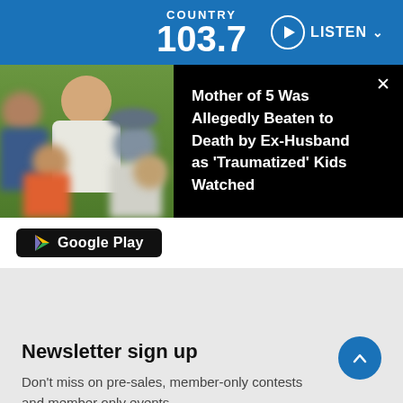COUNTRY 103.7 — LISTEN
[Figure (screenshot): News card with photo of a woman and 5 children with blurred faces outdoors, beside headline on black background: 'Mother of 5 Was Allegedly Beaten to Death by Ex-Husband as Traumatized Kids Watched']
Google Play
Newsletter sign up
Don't miss on pre-sales, member-only contests and member only events.
Country 103.7 Newsletter